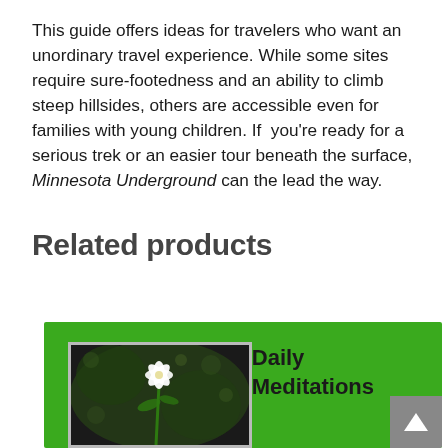This guide offers ideas for travelers who want an unordinary travel experience. While some sites require sure-footedness and an ability to climb steep hillsides, others are accessible even for families with young children. If  you're ready for a serious trek or an easier tour beneath the surface, Minnesota Underground can the lead the way.
Related products
[Figure (illustration): A green product card showing a book cover for 'Daily Meditations' with a white flower photo on a green background]